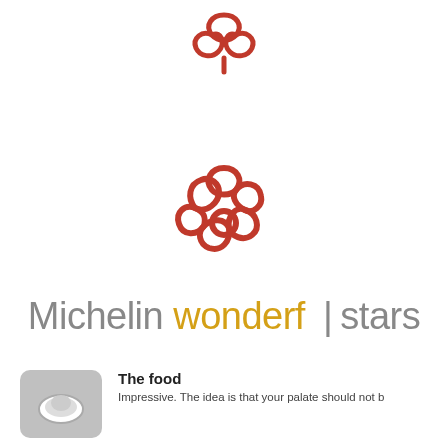[Figure (logo): Michelin star logo (3-petal flower outline in red/orange) — small, at top center]
[Figure (logo): Michelin star logo (6-petal flower outline in red/orange) — larger, at center]
Michelin wonderf | stars
[Figure (illustration): Small grey rounded square icon with a dome/plate illustration]
The food
Impressive. The idea is that your palate should not b...